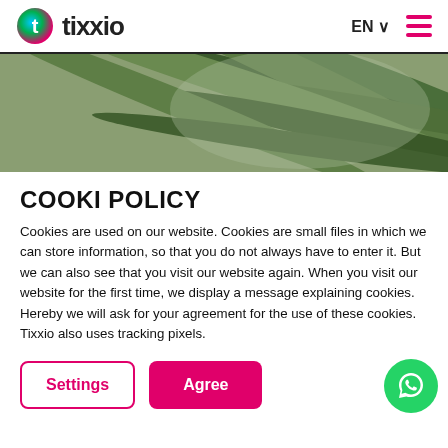tixxio — EN — menu
[Figure (photo): Close-up photo of green palm leaves with blurred background]
COOKI POLICY
Cookies are used on our website. Cookies are small files in which we can store information, so that you do not always have to enter it. But we can also see that you visit our website again. When you visit our website for the first time, we display a message explaining cookies. Hereby we will ask for your agreement for the use of these cookies. Tixxio also uses tracking pixels.
Settings  Agree